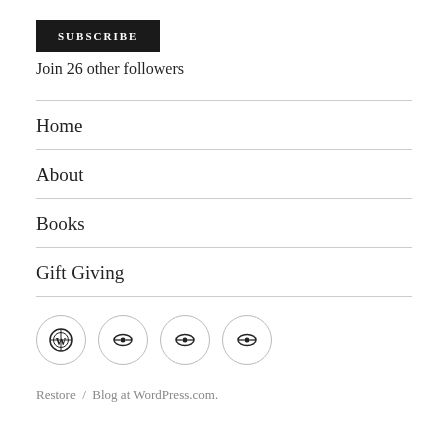[Figure (other): Black SUBSCRIBE button]
Join 26 other followers
Home
About
Books
Gift Giving
[Figure (other): Four circular social/WordPress icons in a row]
Restore / Blog at WordPress.com.